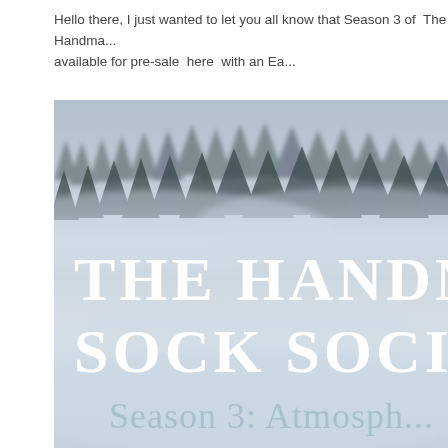Hello there, I just wanted to let you all know that Season 3 of  The Handma... available for pre-sale  here  with an Ea...
[Figure (photo): A misty forest landscape with evergreen trees visible through fog at the top, and large white serif text reading 'THE HANDM... SOCK SOCIE...' and below that 'Season 3: Atmosph...' overlaid on the moody blue-grey foggy scene.]